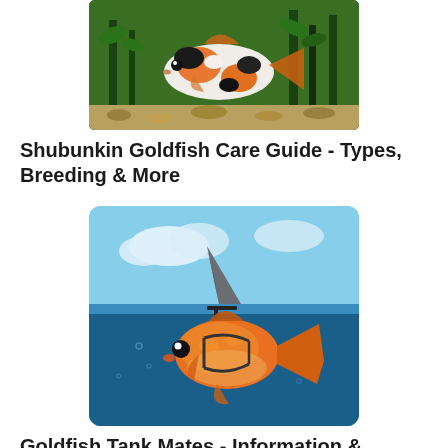[Figure (photo): Shubunkin goldfish (black, white, and orange calico pattern) swimming in a tank with green aquatic plants and gravel]
Shubunkin Goldfish Care Guide - Types, Breeding & More
[Figure (photo): A goldfish wearing a shark fin harness, swimming at the water surface against a blue sky background — a humorous composite image]
Goldfish Tank Mates - Information & Suggestions
[Figure (photo): Partial view of a goldfish in a dark aquarium, partially cut off at the bottom of the page, with a light reflection below]